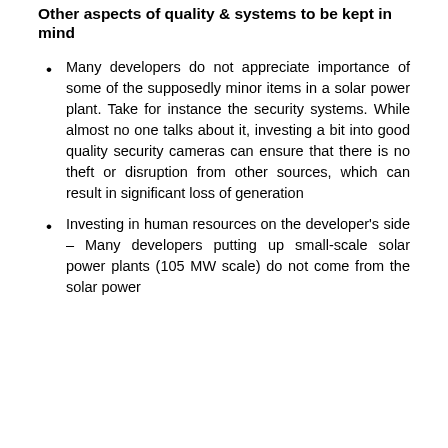Other aspects of quality & systems to be kept in mind
Many developers do not appreciate importance of some of the supposedly minor items in a solar power plant. Take for instance the security systems. While almost no one talks about it, investing a bit into good quality security cameras can ensure that there is no theft or disruption from other sources, which can result in significant loss of generation
Investing in human resources on the developer's side – Many developers putting up small-scale solar power plants (105 MW scale) do not come from the solar power